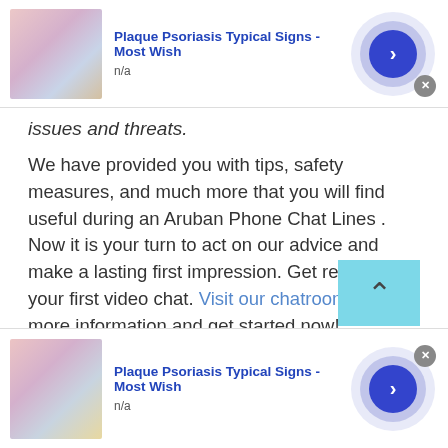[Figure (screenshot): Advertisement banner at top: thumbnail image of skin condition, title 'Plaque Psoriasis Typical Signs - Most Wish', subtitle 'n/a', circular play button, close X button]
issues and threats.
We have provided you with tips, safety measures, and much more that you will find useful during an Aruban Phone Chat Lines . Now it is your turn to act on our advice and make a lasting first impression. Get ready for your first video chat. Visit our chatrooms for more information and get started now!
[Figure (screenshot): Scroll-up button (cyan/teal square with upward chevron)]
[Figure (screenshot): Bottom advertisement banner: thumbnail image of skin condition, title 'Plaque Psoriasis Typical Signs - Most Wish', subtitle 'n/a', circular play button, close X button]